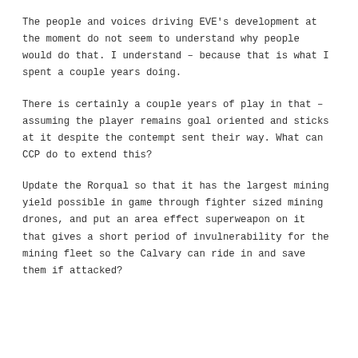The people and voices driving EVE's development at the moment do not seem to understand why people would do that. I understand – because that is what I spent a couple years doing.
There is certainly a couple years of play in that – assuming the player remains goal oriented and sticks at it despite the contempt sent their way. What can CCP do to extend this?
Update the Rorqual so that it has the largest mining yield possible in game through fighter sized mining drones, and put an area effect superweapon on it that gives a short period of invulnerability for the mining fleet so the Calvary can ride in and save them if attacked?